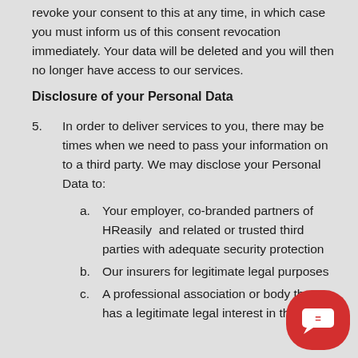revoke your consent to this at any time, in which case you must inform us of this consent revocation immediately. Your data will be deleted and you will then no longer have access to our services.
Disclosure of your Personal Data
5. In order to deliver services to you, there may be times when we need to pass your information on to a third party. We may disclose your Personal Data to:
a. Your employer, co-branded partners of HReasily and related or trusted third parties with adequate security protection
b. Our insurers for legitimate legal purposes
c. A professional association or body that has a legitimate legal interest in the